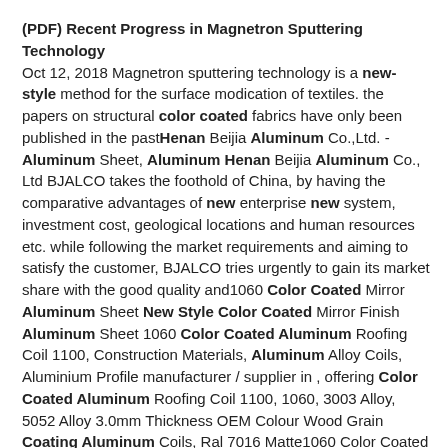(PDF) Recent Progress in Magnetron Sputtering Technology Oct 12, 2018 Magnetron sputtering technology is a new-style method for the surface modication of textiles. the papers on structural color coated fabrics have only been published in the pastHenan Beijia Aluminum Co.,Ltd. - Aluminum Sheet, Aluminum Henan Beijia Aluminum Co., Ltd BJALCO takes the foothold of China, by having the comparative advantages of new enterprise new system, investment cost, geological locations and human resources etc. while following the market requirements and aiming to satisfy the customer, BJALCO tries urgently to gain its market share with the good quality and1060 Color Coated Mirror Aluminum Sheet New Style Color Coated Mirror Finish Aluminum Sheet 1060 Color Coated Aluminum Roofing Coil 1100, Construction Materials, Aluminum Alloy Coils, Aluminium Profile manufacturer / supplier in , offering Color Coated Aluminum Roofing Coil 1100, 1060, 3003 Alloy, 5052 Alloy 3.0mm Thickness OEM Colour Wood Grain Coating Aluminum Coils, Ral 7016 Matte1060 Color Coated Mirror Aluminum Sheet New Style Color Coated Mirror Finish Aluminum Sheet 1060 Color Coated Aluminum Roofing Coil 1100, Construction Materials, Aluminum Alloy Coils, Aluminium Profile manufacturer / supplier in , offering Color Coated Aluminum Roofing Coil 1100, 1060, 3003 Allo...